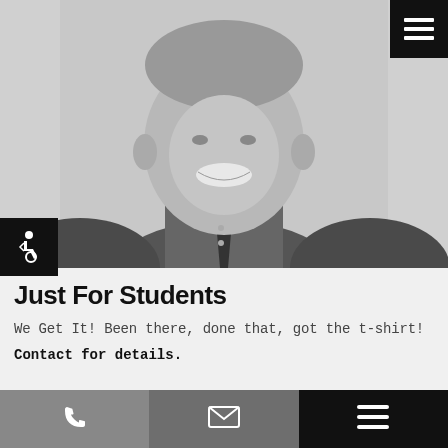[Figure (photo): Black and white photo of a smiling young man in a button-up shirt and tie, cropped from shoulders up]
Just For Students
We Get It! Been there, done that, got the t-shirt!
Contact for details.
Phone | Email | Menu